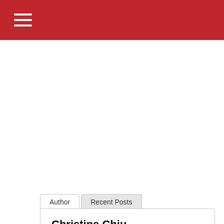Author | Recent Posts
Christine Chiu
Content crafter at China Admissions with nine years of professional writing experience. Fil-Chinese who honors my heritage every day. On a fascinating journey exploring China and tracing my ancestry. See China through my lens.